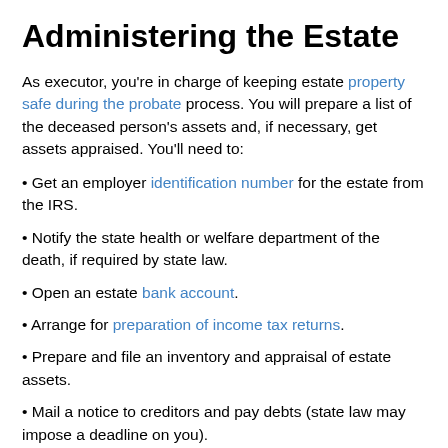Administering the Estate
As executor, you're in charge of keeping estate property safe during the probate process. You will prepare a list of the deceased person's assets and, if necessary, get assets appraised. You'll need to:
• Get an employer identification number for the estate from the IRS.
• Notify the state health or welfare department of the death, if required by state law.
• Open an estate bank account.
• Arrange for preparation of income tax returns.
• Prepare and file an inventory and appraisal of estate assets.
• Mail a notice to creditors and pay debts (state law may impose a deadline on you).
• If the court requires it, file a list of creditors' claims you have